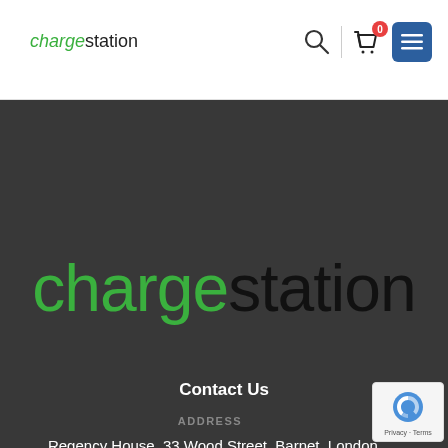[Figure (logo): chargestation logo in header with green italic 'charge' and dark 'station']
[Figure (screenshot): Header nav icons: search icon, vertical divider, shopping bag with badge '0', blue menu button with hamburger icon]
[Figure (logo): Large chargestation logo on dark background: green 'charge' + dark 'station']
Contact Us
ADDRESS
Regency House, 33 Wood Street, Barnet, London, United Kingdom, EN5 4BE
PHONE